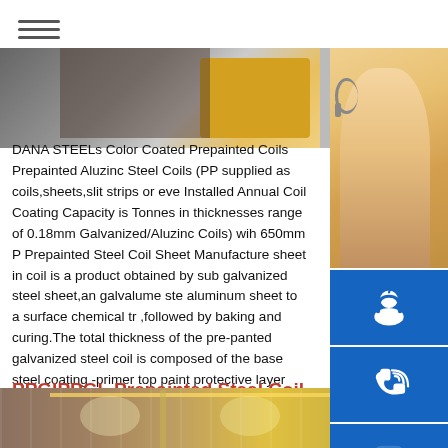≡ (hamburger menu)
[Figure (photo): Top strip photo showing industrial steel coil manufacturing area with yellow equipment]
DANA STEELs Color Coated Prepainted Coils Prepainted Aluzinc Steel Coils (PP supplied as coils,sheets,slit strips or eve Installed Annual Coil Coating Capacity is Tonnes in thicknesses range of 0.18mm Galvanized/Aluzinc Coils) wih 650mm P Prepainted Steel Coil Sheet Manufacture sheet in coil is a product obtained by sub galvanized steel sheet,an galvalume ste aluminum sheet to a surface chemical tr ,followed by baking and curing.The total thickness of the pre-panted galvanized steel coil is composed of the base steel coating -primer top paint protective layer thickness.
[Figure (photo): Contact support panel: photo of woman with headset, phone icon, Skype icon, with text MANUAL SE..., QUOTING O..., Email: bsteel1@163.com]
PPGIPPGL Prepainted Steel Coil Sheet Manufacturer -
[Figure (photo): Bottom strip photo of industrial factory interior with overhead crane]